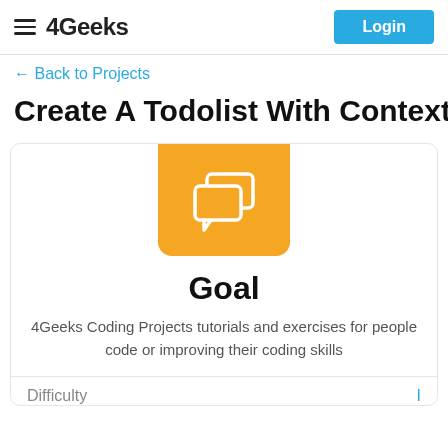4Geeks  Login
← Back to Projects
Create A Todolist With Context.API An
[Figure (illustration): Orange/yellow rounded rectangle card icon with two white speech/chat bubble icons centered inside]
Goal
4Geeks Coding Projects tutorials and exercises for people code or improving their coding skills
Difficulty  I